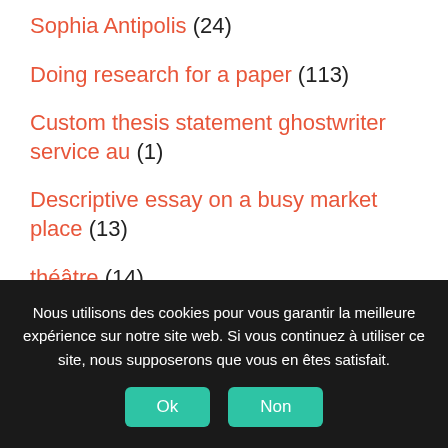Sophia Antipolis (24)
Doing research for a paper (113)
Custom thesis statement ghostwriter service au (1)
Descriptive essay on a busy market place (13)
théâtre (14)
Toulouse (16)
Nous utilisons des cookies pour vous garantir la meilleure expérience sur notre site web. Si vous continuez à utiliser ce site, nous supposerons que vous en êtes satisfait. Ok Non